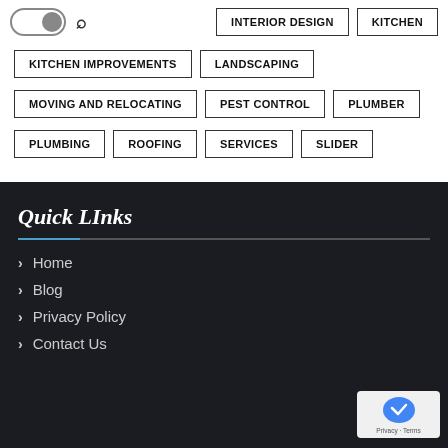[Figure (screenshot): Dark mode toggle switch and search icon in navigation bar]
INTERIOR DESIGN
KITCHEN
KITCHEN IMPROVEMENTS
LANDSCAPING
MOVING AND RELOCATING
PEST CONTROL
PLUMBER
PLUMBING
ROOFING
SERVICES
SLIDER
Quick LInks
Home
Blog
Privacy Policy
Contact Us